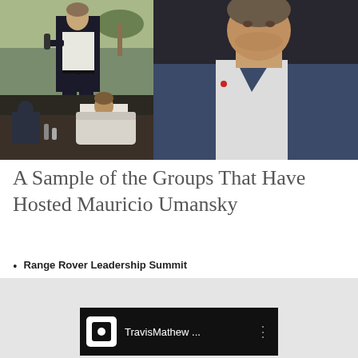[Figure (photo): Collage of three photos: top-left: man in dark blazer speaking with microphone outdoors; bottom-left: man in white shirt seated on stage in conversation; right: close-up portrait of man in blue suit jacket with small pin, white V-neck shirt.]
A Sample of the Groups That Have Hosted Mauricio Umansky
Range Rover Leadership Summit
[Figure (screenshot): Video thumbnail showing TravisMathew logo and text 'TravisMathew ...' on dark background with three-dot menu icon.]